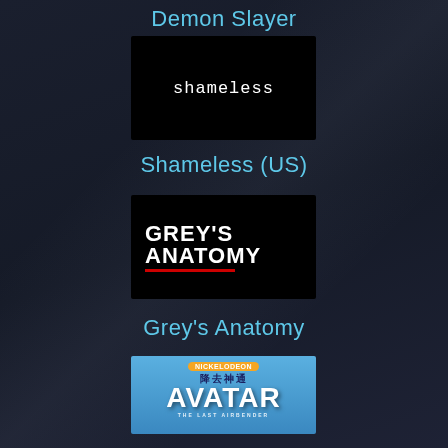Demon Slayer
[Figure (logo): Black background with white lowercase text 'shameless' in monospace font]
Shameless (US)
[Figure (logo): Black background with bold white uppercase text GREY'S ANATOMY with a red underline beneath GREY'S]
Grey's Anatomy
[Figure (logo): Blue sky background with Nickelodeon badge, Chinese characters, large white AVATAR text, subtitle THE LAST AIRBENDER]